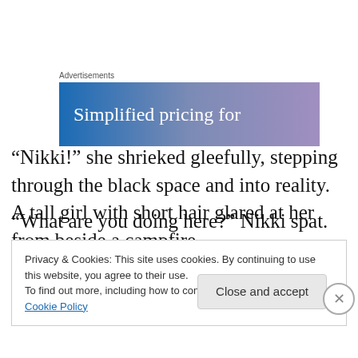Advertisements
[Figure (illustration): Advertisement banner with blue-to-purple gradient background and white text reading 'Simplified pricing for']
“Nikki!” she shrieked gleefully, stepping through the black space and into reality. A tall girl with short hair glared at her from beside a campfire.
“What are you doing here?” Nikki spat. She glanced
Privacy & Cookies: This site uses cookies. By continuing to use this website, you agree to their use.
To find out more, including how to control cookies, see here: Cookie Policy
Close and accept